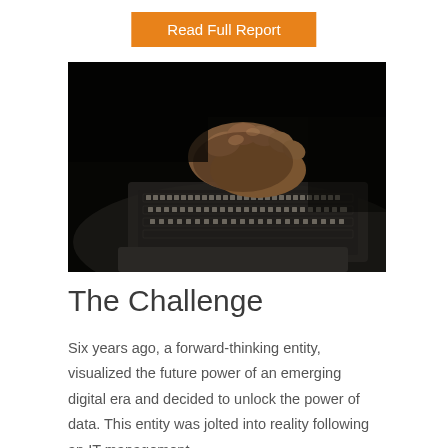Read Full Report
[Figure (photo): A hand typing on a laptop keyboard in a dark setting, illuminated from below with the keyboard lights visible.]
The Challenge
Six years ago, a forward-thinking entity, visualized the future power of an emerging digital era and decided to unlock the power of data. This entity was jolted into reality following an IT management